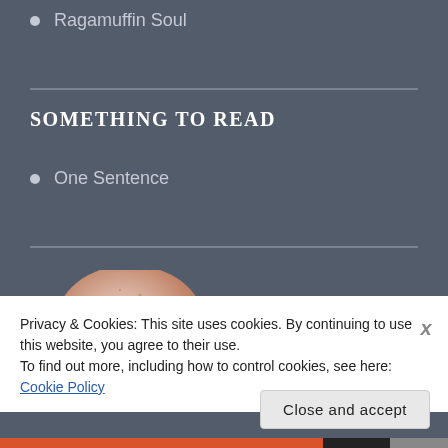Ragamuffin Soul
SOMETHING TO READ
One Sentence
[Figure (photo): Partial view of a round decorative plate or dish with speckled pinkish-beige texture, partially visible at bottom-left of page behind cookie consent banner]
Privacy & Cookies: This site uses cookies. By continuing to use this website, you agree to their use.
To find out more, including how to control cookies, see here: Cookie Policy
Close and accept